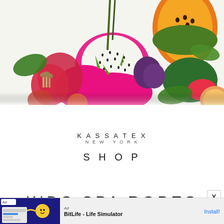[Figure (photo): Colorful arrangement of tropical fruits including dragon fruit, papaya, watermelon, figs, and exotic flowers on a white background]
[Figure (logo): KASSATEX NEW YORK logo in spaced serif/sans lettering]
SHOP
KIDS SPA ROBES
SWIPE UP
[Figure (screenshot): Mobile advertisement banner for BitLife - Life Simulator app with Install button]